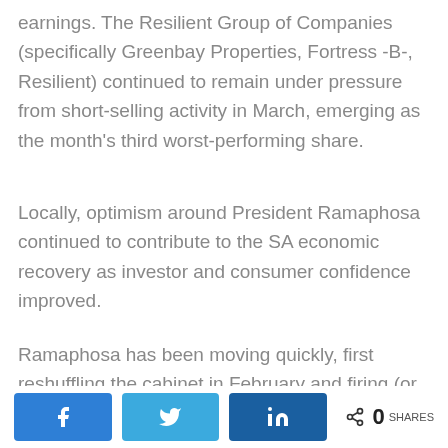earnings. The Resilient Group of Companies (specifically Greenbay Properties, Fortress -B-, Resilient) continued to remain under pressure from short-selling activity in March, emerging as the month's third worst-performing share.
Locally, optimism around President Ramaphosa continued to contribute to the SA economic recovery as investor and consumer confidence improved.
Ramaphosa has been moving quickly, first reshuffling the cabinet in February and firing (or demoting) several Jacob Zuma allies while also reinstating Nhlanhla Nene as finance minister. In late-March, Ramaphosa suspend-ed another key
[Figure (other): Social sharing bar with Facebook, Twitter, LinkedIn buttons and a share count of 0 SHARES]